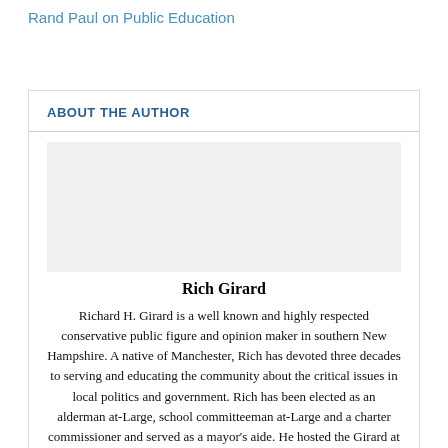Rand Paul on Public Education
ABOUT THE AUTHOR
Rich Girard
Richard H. Girard is a well known and highly respected conservative public figure and opinion maker in southern New Hampshire. A native of Manchester, Rich has devoted three decades to serving and educating the community about the critical issues in local politics and government. Rich has been elected as an alderman at-Large, school committeeman at-Large and a charter commissioner and served as a mayor's aide. He hosted the Girard at